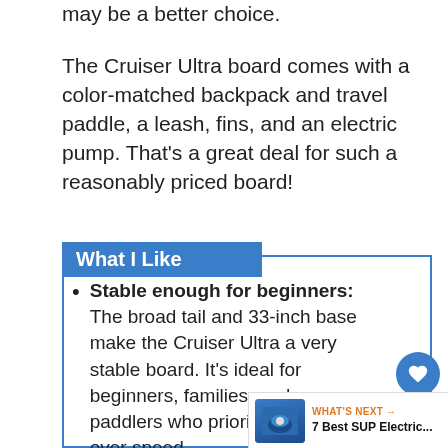may be a better choice.
The Cruiser Ultra board comes with a color-matched backpack and travel paddle, a leash, fins, and an electric pump. That's a great deal for such a reasonably priced board!
What I Like
Stable enough for beginners: The broad tail and 33-inch base make the Cruiser Ultra a very stable board. It's ideal for beginners, families, and paddlers who prioritize stability over speed.
Suitable for fishing: I don't usually recommend compact boards for fishing as they don't have sufficient weight capacity or features. The Cruiser Ultra is an